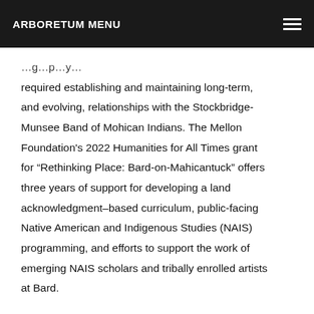ARBORETUM MENU
required establishing and maintaining long-term, and evolving, relationships with the Stockbridge-Munsee Band of Mohican Indians. The Mellon Foundation's 2022 Humanities for All Times grant for “Rethinking Place: Bard-on-Mahicantuck” offers three years of support for developing a land acknowledgment–based curriculum, public-facing Native American and Indigenous Studies (NAIS) programming, and efforts to support the work of emerging NAIS scholars and tribally enrolled artists at Bard.